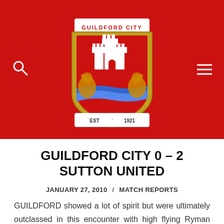Guildford City Football Club
GUILDFORD CITY 0 – 2 SUTTON UNITED
JANUARY 27, 2010 / MATCH REPORTS
GUILDFORD showed a lot of spirit but were ultimately outclassed in this encounter with high flying Ryman Premier League side Sutton United. City had the better of the first 15 minutes – with James Brown being denied by two outstanding saves from the Sutton goalkeeper – but succumbed from a simple long ball – Jerson Dos Santos turning Simon Cooper to fire home from